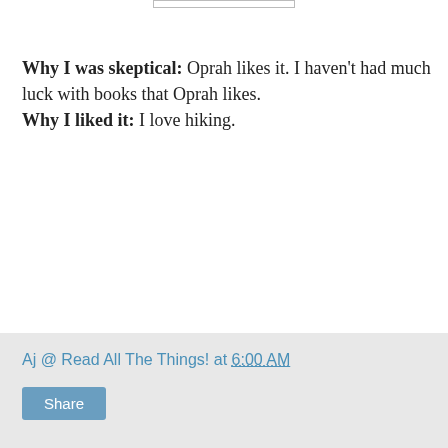Why I was skeptical: Oprah likes it. I haven't had much luck with books that Oprah likes. Why I liked it: I love hiking.
What's your favorite hyped book?
Aj @ Read All The Things! at 6:00 AM  Share